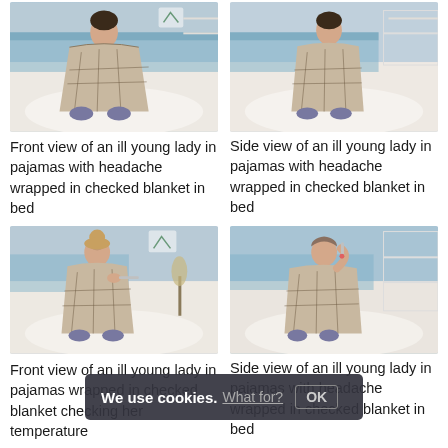[Figure (photo): Front view of an ill young lady in pajamas with headache wrapped in checked blanket in bed]
[Figure (photo): Side view of an ill young lady in pajamas with headache wrapped in checked blanket in bed]
Front view of an ill young lady in pajamas with headache wrapped in checked blanket in bed
Side view of an ill young lady in pajamas with headache wrapped in checked blanket in bed
[Figure (photo): Front view of an ill young lady in pajamas wrapped in checked blanket checking her temperature]
[Figure (photo): Side view of an ill young lady in pajamas with headache wrapped in checked blanket in bed]
Front view of an ill young lady in pajamas wrapped in checked blanket checking her temperature
Side view of an ill young lady in pajamas with headache wrapped in checked blanket in bed
[Figure (photo): Partial bottom photo - ill young lady in pajamas]
[Figure (photo): Partial bottom photo - ill young lady in pajamas]